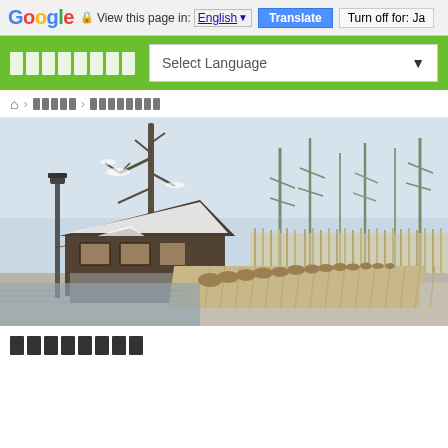Google | View this page in: English [dropdown] | Translate | Turn off for: Ja
[Figure (screenshot): Green navigation bar with Japanese site title (shown as Unicode blocks) and a Select Language dropdown]
Home > [breadcrumb text in Japanese] > [breadcrumb text in Japanese]
[Figure (photo): Outdoor scenic photo showing a traditional wooden building/rest hut with snow-dusted roof surrounded by pine trees, with a wooden plank walkway lined with potted plants and bamboo fence in the background, against a grey sky]
████████ (Japanese text shown as blocks)